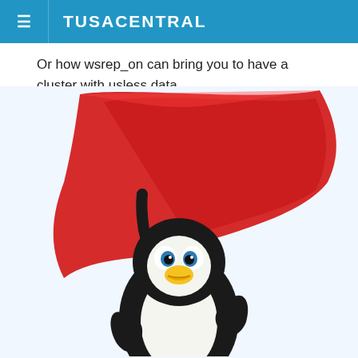TUSACENTRAL
Or how wsrep_on can bring you to have a cluster with usless data.
[Figure (illustration): Tux the Linux penguin mascot waving a large red flag, illustrated in a cartoonish style against a light blue/white background]